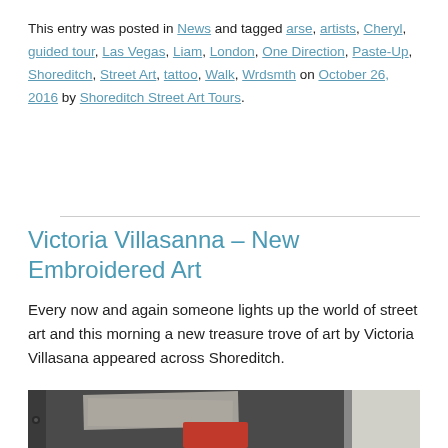This entry was posted in News and tagged arse, artists, Cheryl, guided tour, Las Vegas, Liam, London, One Direction, Paste-Up, Shoreditch, Street Art, tattoo, Walk, Wrdsmth on October 26, 2016 by Shoreditch Street Art Tours.
Victoria Villasanna – New Embroidered Art
Every now and again someone lights up the world of street art and this morning a new treasure trove of art by Victoria Villasana appeared across Shoreditch.
[Figure (photo): Street art photograph showing a textured wall with peeling paste-up posters, dark panels on left, red and pink embroidered elements at bottom center, light/white wall section on right.]